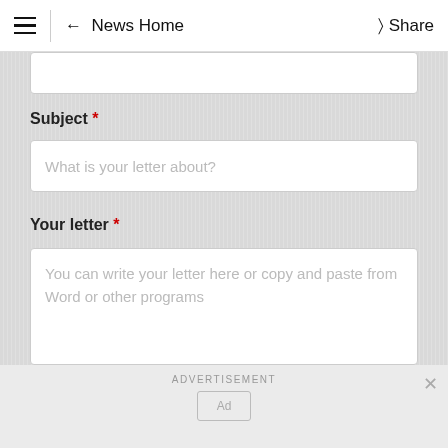≡ ← News Home  Share
Subject *
What is your letter about?
Your letter *
You can write your letter here or copy and paste from Word or other programs
ADVERTISEMENT
[Figure (other): Ad placeholder box with 'Ad' label]